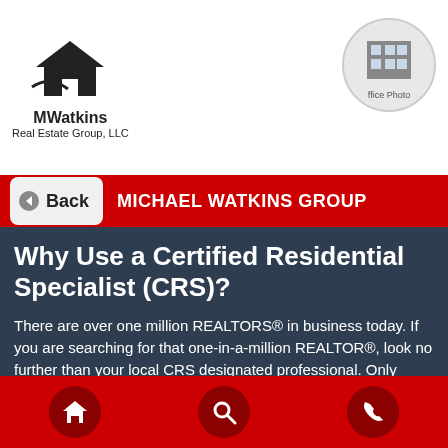[Figure (logo): MWatkins Real Estate Group, LLC logo with house/building icon]
[Figure (photo): Office photo in circular frame in top right corner]
Back  MICHAEL WATKINS GROUP
Why Use a Certified Residential Specialist (CRS)?
There are over one million REALTORS® in business today. If you are searching for that one-in-a-million REALTOR®, look no further than your local CRS designated professional. Only about 3% of REALTORS® hold the CRS designation today. As a member, CRS designees are held to a higher standard of professionalism. A CRS professional is typically more experienced, knowledgeable and committed than the average REALTOR® at helping the consumer get the most out of their real estate transaction.
Home | Search | Phone